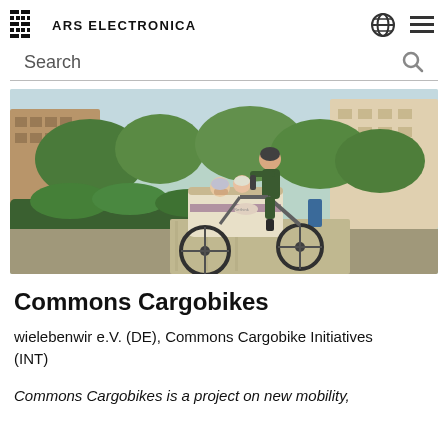ARS ELECTRONICA
[Figure (photo): A woman riding a cargo bike with two children in the front cargo box, cycling through a residential area with trees and apartment buildings in the background.]
Commons Cargobikes
wielebenwir e.V. (DE), Commons Cargobike Initiatives (INT)
Commons Cargobikes is a project on new mobility,